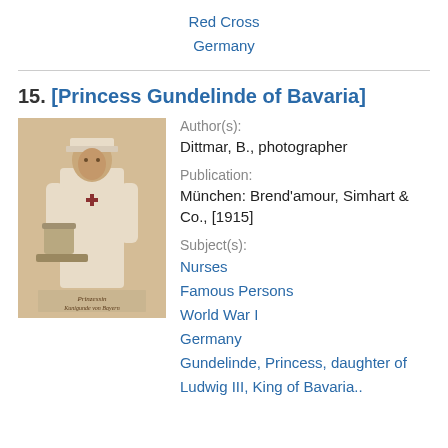Red Cross
Germany
[Figure (photo): Sepia photograph of Princess Gundelinde of Bavaria dressed as a Red Cross nurse, standing beside a table with medical supplies. A handwritten caption appears below the image.]
15. [Princess Gundelinde of Bavaria]
Author(s):
Dittmar, B., photographer
Publication:
München: Brend'amour, Simhart & Co., [1915]
Subject(s):
Nurses
Famous Persons
World War I
Germany
Gundelinde, Princess, daughter of Ludwig III, King of Bavaria..